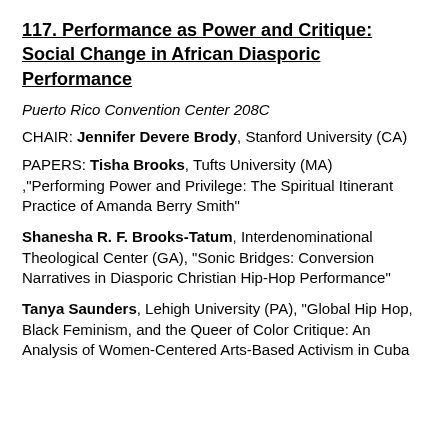117. Performance as Power and Critique: Social Change in African Diasporic Performance
Puerto Rico Convention Center 208C
CHAIR: Jennifer Devere Brody, Stanford University (CA)
PAPERS: Tisha Brooks, Tufts University (MA) ,“Performing Power and Privilege: The Spiritual Itinerant Practice of Amanda Berry Smith”
Shanesha R. F. Brooks-Tatum, Interdenominational Theological Center (GA), “Sonic Bridges: Conversion Narratives in Diasporic Christian Hip-Hop Performance”
Tanya Saunders, Lehigh University (PA), “Global Hip Hop, Black Feminism, and the Queer of Color Critique: An Analysis of Women-Centered Arts-Based Activism in Cuba